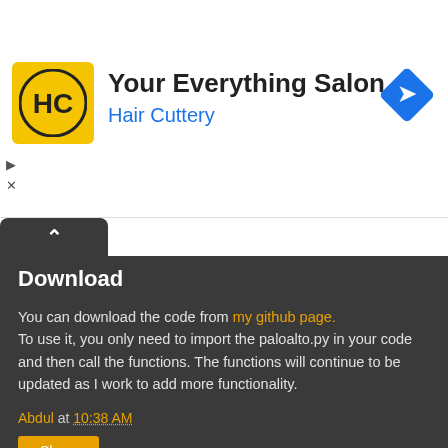[Figure (logo): Hair Cuttery ad banner with HC logo on yellow background, text 'Your Everything Salon' and 'Hair Cuttery' in blue, with blue navigation diamond icon on right]
Download
You can download the code from my github page. To use it, you only need to import the paloalto.py in your code and then call the functions. The functions will continue to be updated as I work to add more functionality.
Abdul at 10:38 AM
Share
13 comments: